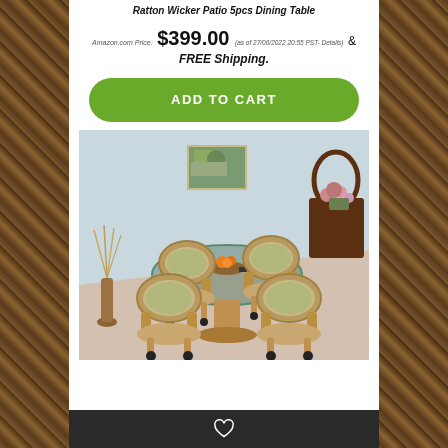Ratton Wicker Patio 5pcs Dining Table
Amazon.com Price: $399.00 (as of 27/06/2022 20:55 PST- Details) & FREE Shipping.
ADD TO CART
[Figure (photo): Rattan wicker dining set with glass-top round table and four cushioned swivel chairs with casters, displayed in a room with light blue walls, a landscape painting on the wall, a decorative floor vase with dried grass, and a dark wood shelf with flowers in the background.]